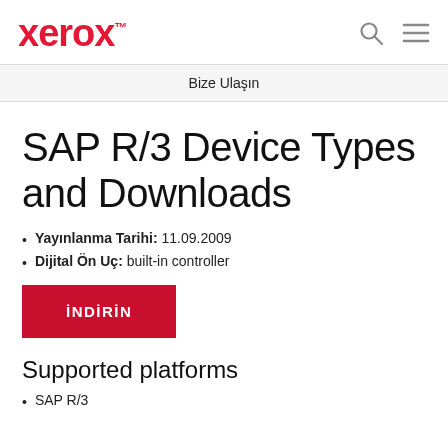Xerox™  [search icon] [menu icon]
Bize Ulaşın
SAP R/3 Device Types and Downloads
Yayınlanma Tarihi: 11.09.2009
Dijital Ön Uç: built-in controller
İNDİRİN
Supported platforms
SAP R/3